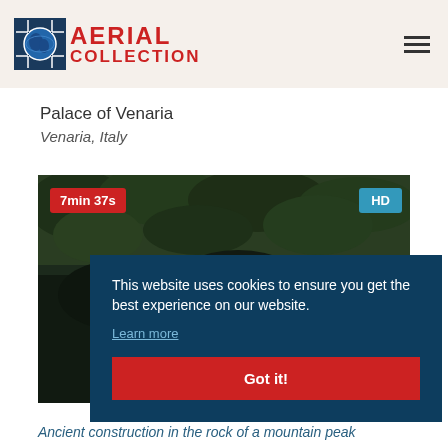AERIAL COLLECTION
Palace of Venaria
Venaria, Italy
[Figure (screenshot): Video thumbnail showing aerial view of forested mountain area with red time badge '7min 37s' and blue HD badge]
This website uses cookies to ensure you get the best experience on our website. Learn more
Got it!
Ancient construction in the rock of a mountain peak